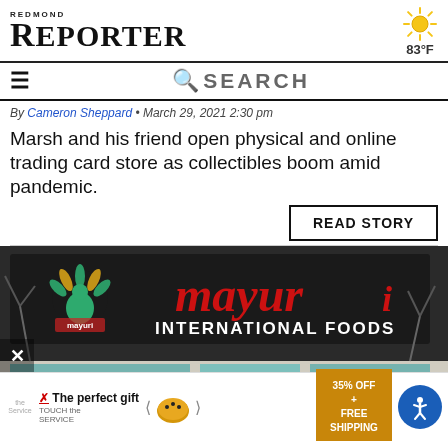REDMOND REPORTER
83°F
☰  🔍 SEARCH
By Cameron Sheppard • March 29, 2021 2:30 pm
Marsh and his friend open physical and online trading card store as collectibles boom amid pandemic.
READ STORY
[Figure (photo): Exterior of Mayuri International Foods store with large signage featuring peacock logo and 'COMING SOON' banner in windows below]
The perfect gift — 35% OFF + FREE SHIPPING